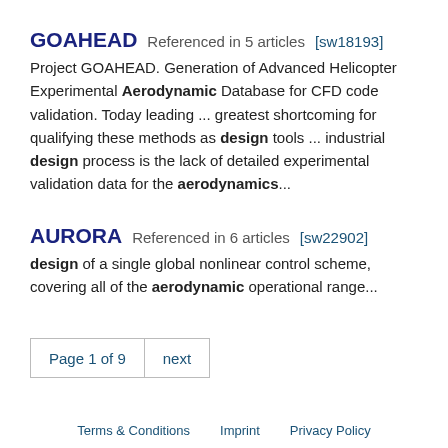GOAHEAD  Referenced in 5 articles  [sw18193]
Project GOAHEAD. Generation of Advanced Helicopter Experimental Aerodynamic Database for CFD code validation. Today leading ... greatest shortcoming for qualifying these methods as design tools ... industrial design process is the lack of detailed experimental validation data for the aerodynamics...
AURORA  Referenced in 6 articles  [sw22902]
design of a single global nonlinear control scheme, covering all of the aerodynamic operational range...
Page 1 of 9  next
Terms & Conditions   Imprint   Privacy Policy